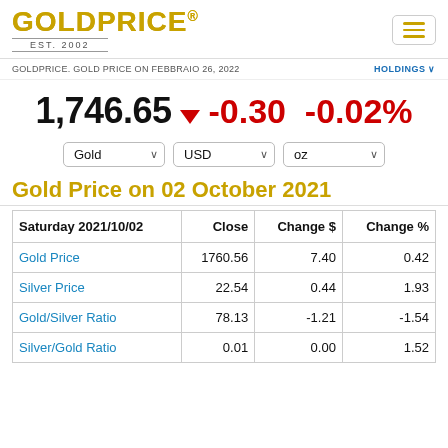[Figure (logo): GOLDPRICE logo with EST. 2002 in gold lettering]
GOLDPRICE. GOLD PRICE ON FEBBRAIO 26, 2022   HOLDINGS
1,746.65 ▼ -0.30 -0.02%
Gold   USD   oz
Gold Price on 02 October 2021
| Saturday 2021/10/02 | Close | Change $ | Change % |
| --- | --- | --- | --- |
| Gold Price | 1760.56 | 7.40 | 0.42 |
| Silver Price | 22.54 | 0.44 | 1.93 |
| Gold/Silver Ratio | 78.13 | -1.21 | -1.54 |
| Silver/Gold Ratio | 0.01 | 0.00 | 1.52 |